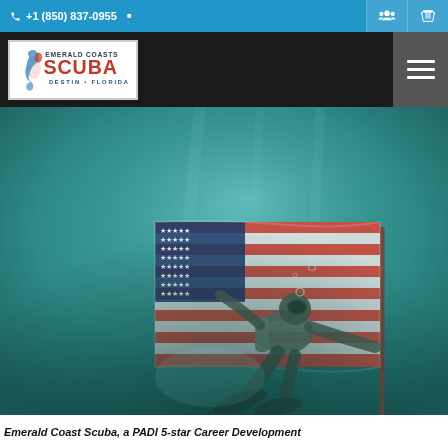+1 (850) 837-0955
[Figure (logo): Emerald Coasts Scuba logo with fish graphic, red SCUBA text, and Destin Florida subtext]
[Figure (photo): Underwater photograph of a scuba diver holding an American flag while swimming in teal-green water]
Emerald Coast Scuba, a PADI 5-star Career Development